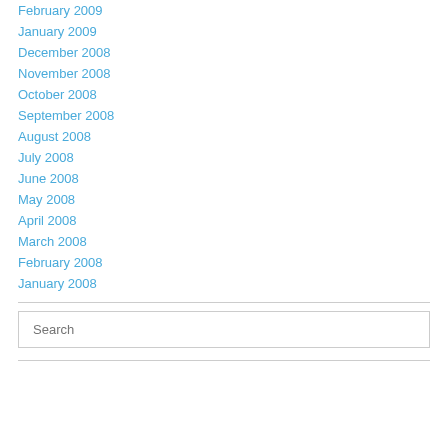February 2009
January 2009
December 2008
November 2008
October 2008
September 2008
August 2008
July 2008
June 2008
May 2008
April 2008
March 2008
February 2008
January 2008
Search